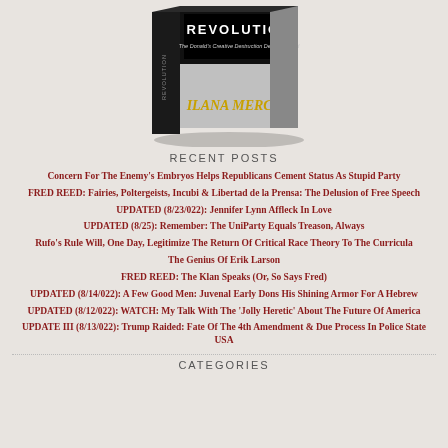[Figure (photo): Book cover image: 'Revolution: The Donald's Creative Destruction Deconstructed' by Ilana Mercer. Black and silver box-style book with gold author name.]
RECENT POSTS
Concern For The Enemy's Embryos Helps Republicans Cement Status As Stupid Party
FRED REED: Fairies, Poltergeists, Incubi & Libertad de la Prensa: The Delusion of Free Speech
UPDATED (8/23/022): Jennifer Lynn Affleck In Love
UPDATED (8/25): Remember: The UniParty Equals Treason, Always
Rufo's Rule Will, One Day, Legitimize The Return Of Critical Race Theory To The Curricula
The Genius Of Erik Larson
FRED REED: The Klan Speaks (Or, So Says Fred)
UPDATED (8/14/022): A Few Good Men: Juvenal Early Dons His Shining Armor For A Hebrew
UPDATED (8/12/022): WATCH: My Talk With The 'Jolly Heretic' About The Future Of America
UPDATE III (8/13/022): Trump Raided: Fate Of The 4th Amendment & Due Process In Police State USA
CATEGORIES